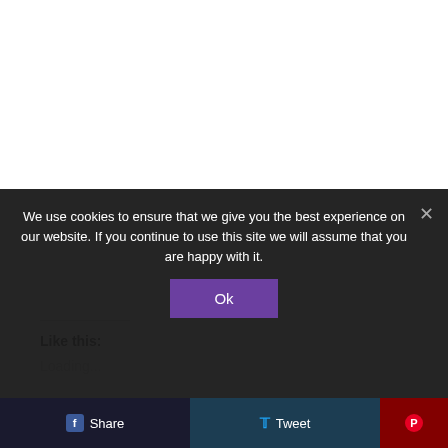Like this:
Loading...
We use cookies to ensure that we give you the best experience on our website. If you continue to use this site we will assume that you are happy with it.
Ok
Share
Tweet